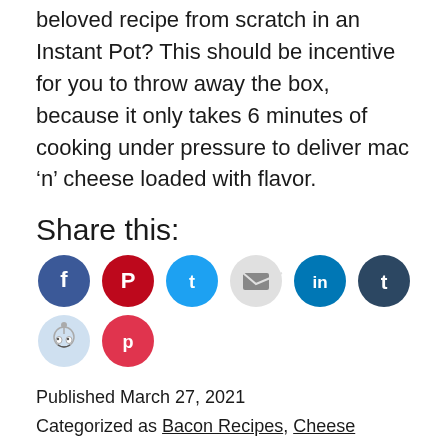beloved recipe from scratch in an Instant Pot? This should be incentive for you to throw away the box, because it only takes 6 minutes of cooking under pressure to deliver mac ‘n’ cheese loaded with flavor.
Share this:
[Figure (infographic): Row of social media sharing icon buttons: Facebook (blue), Pinterest (red), Twitter (light blue), Email (light gray), LinkedIn (dark teal), Tumblr (dark navy), Reddit (light blue-gray), Pocket (pink-red)]
Published March 27, 2021
Categorized as Bacon Recipes, Cheese Recipes, Pasta Recipes, Side Dishes
Tagged bacon, butter, cheddar cheese, chicken bouillon, dry mustard, garlic powder, heavy cream, instant pot,